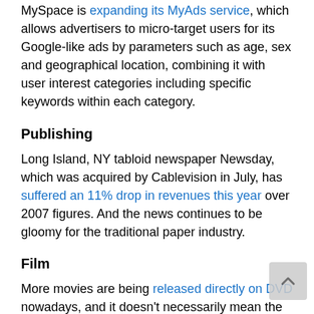MySpace is expanding its MyAds service, which allows advertisers to micro-target users for its Google-like ads by parameters such as age, sex and geographical location, combining it with user interest categories including specific keywords within each category.
Publishing
Long Island, NY tabloid newspaper Newsday, which was acquired by Cablevision in July, has suffered an 11% drop in revenues this year over 2007 figures. And the news continues to be gloomy for the traditional paper industry.
Film
More movies are being released directly on DVD nowadays, and it doesn't necessarily mean the film is poor quality, according to U.K. paper The Guardian – a lot of it has to do with today's "carpet bombing" approach to film releases and how a film has to guarantee a large amount of "butts in the seats" on the very first weekend. Interesting especially for what it